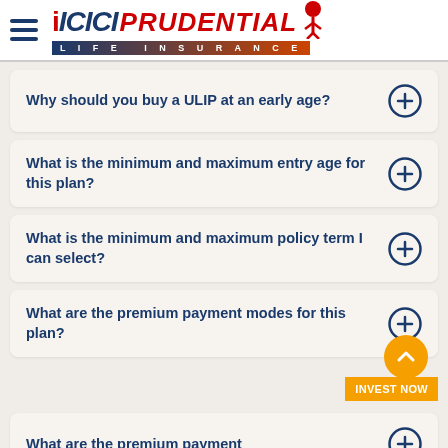ICICI PRUDENTIAL LIFE INSURANCE
Why should you buy a ULIP at an early age?
What is the minimum and maximum entry age for this plan?
What is the minimum and maximum policy term I can select?
What are the premium payment modes for this plan?
What are the premium payment